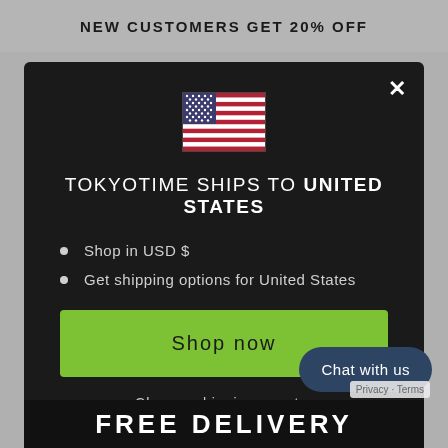NEW CUSTOMERS GET 20% OFF
[Figure (illustration): US flag emoji icon centered in modal]
TOKYOTIME SHIPS TO UNITED STATES
Shop in USD $
Get shipping options for United States
Shop now
Change shipping country
Chat with us
FREE DELIVERY